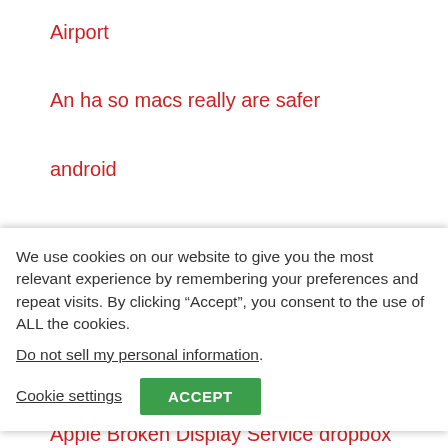Airport
An ha so macs really are safer
android
We use cookies on our website to give you the most relevant experience by remembering your preferences and repeat visits. By clicking “Accept”, you consent to the use of ALL the cookies.
Do not sell my personal information.
Cookie settings  ACCEPT
Apple Broken Display Service clean up your iPhone
Apple Broken Display Service datamining
Apple Broken Display Service dropbox